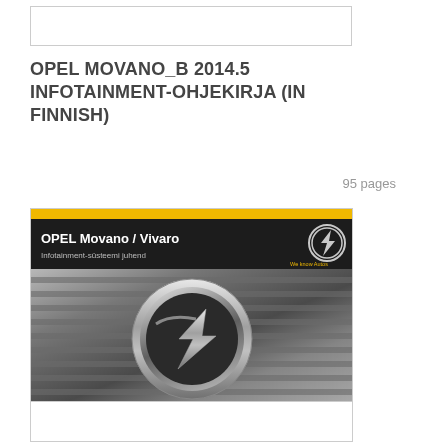[Figure (other): Empty white box at top of page]
OPEL MOVANO_B 2014.5 INFOTAINMENT-OHJEKIRJA (IN FINNISH)
95 pages
[Figure (illustration): Cover image of Opel Movano/Vivaro infotainment system manual showing Opel logo badge on chrome car grille, with yellow stripe at top and black header reading 'OPEL Movano / Vivaro Infotainment-süsteemi juhend' with Opel lightning bolt logo]
[Figure (other): Empty white box at bottom of page]